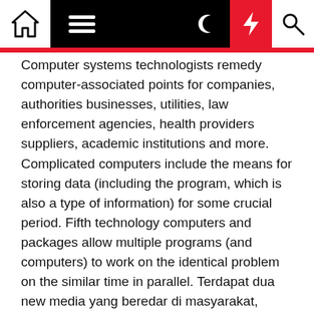[Navigation bar with home, menu, dark mode, flash, search icons]
Computer systems technologists remedy computer-associated points for companies, authorities businesses, utilities, law enforcement agencies, health providers suppliers, academic institutions and more. Complicated computers include the means for storing data (including the program, which is also a type of information) for some crucial period. Fifth technology computers and packages allow multiple programs (and computers) to work on the identical problem on the similar time in parallel. Terdapat dua new media yang beredar di masyarakat, media konvensional yang ditingkatkan menjadi digital atau media yang menggunakan bahan atau alat yang benar-benar baru untuk memproduksinya.
The person puts the gadget in Bluetooth pairing mode, and then prompts pairing mode on the Echo